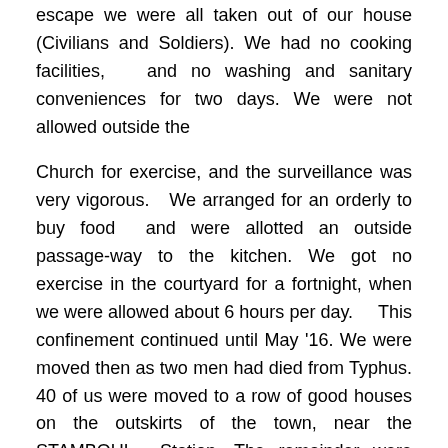escape we were all taken out of our house (Civilians and Soldiers). We had no cooking facilities, and no washing and sanitary conveniences for two days. We were not allowed outside the
Church for exercise, and the surveillance was very vigorous. We arranged for an orderly to buy food and were allotted an outside passage-way to the kitchen. We got no exercise in the courtyard for a fortnight, when we were allowed about 6 hours per day. This confinement continued until May '16. We were moved then as two men had died from Typhus. 40 of us were moved to a row of good houses on the outskirts of the town, near the STAMBOUL Station. The remainder were housed in the town.
“We remained in these houses until released on